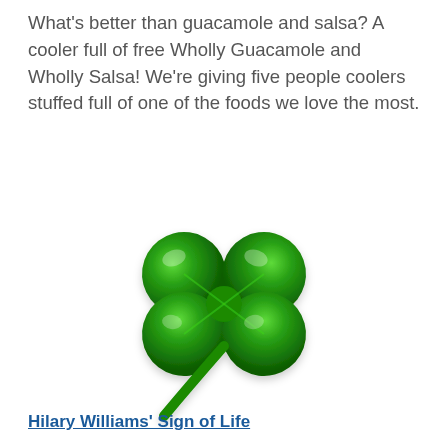What's better than guacamole and salsa? A cooler full of free Wholly Guacamole and Wholly Salsa! We're giving five people coolers stuffed full of one of the foods we love the most.
[Figure (illustration): A shiny 3D green four-leaf clover illustration on a white background]
Hilary Williams' Sign of Life